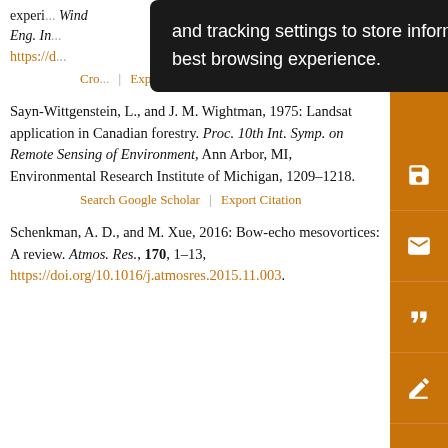experi... Wind Eng. In... https://d... CrossRef | Export Citation
and tracking settings to store information that help give you the very best browsing experience.
Sayn-Wittgenstein, L., and J. M. Wightman, 1975: Landsat application in Canadian forestry. Proc. 10th Int. Symp. on Remote Sensing of Environment, Ann Arbor, MI, Environmental Research Institute of Michigan, 1209–1218.
Search Google Scholar | Export Citation
Schenkman, A. D., and M. Xue, 2016: Bow-echo mesovortices: A review. Atmos. Res., 170, 1–13, https://doi.org/10.1016/j.atmosres.2015.11.003.